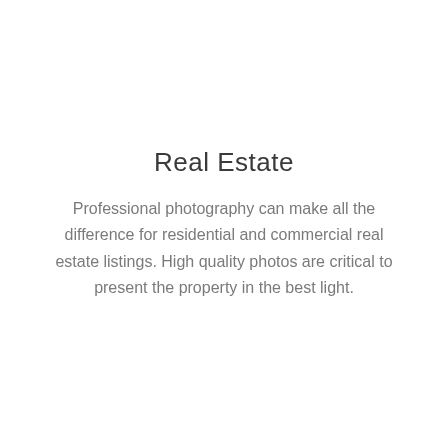Real Estate
Professional photography can make all the difference for residential and commercial real estate listings. High quality photos are critical to present the property in the best light.